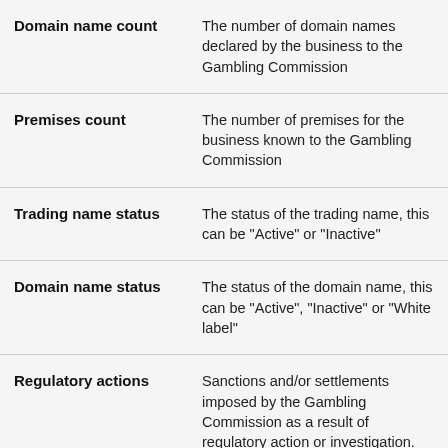| Term | Definition |
| --- | --- |
| Domain name count | The number of domain names declared by the business to the Gambling Commission |
| Premises count | The number of premises for the business known to the Gambling Commission |
| Trading name status | The status of the trading name, this can be "Active" or "Inactive" |
| Domain name status | The status of the domain name, this can be "Active", "Inactive" or "White label" |
| Regulatory actions | Sanctions and/or settlements imposed by the Gambling Commission as a result of regulatory action or investigation. |
Back to top